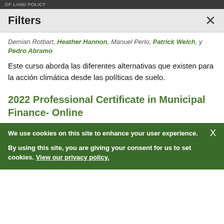OF LAND POLICY
Filters
Demian Rotbart, Heather Hannon, Manuel Perlo, Patrick Welch, y Pedro Abramo
Este curso aborda las diferentes alternativas que existen para la acción climática desde las políticas de suelo.
2022 Professional Certificate in Municipal Finance- Online
We use cookies on this site to enhance your user experience.
By using this site, you are giving your consent for us to set cookies. View our privacy policy.